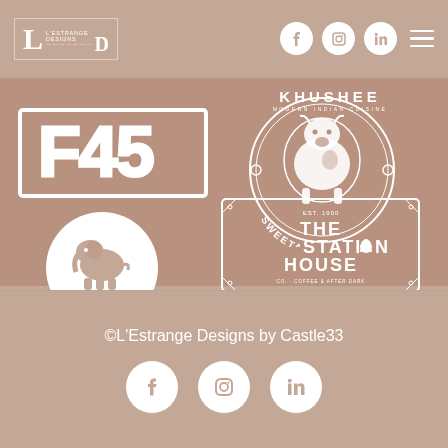[Figure (logo): L'Estrange Designs logo in top-left header]
[Figure (logo): Social media icons (Facebook, Instagram, LinkedIn) and hamburger menu in header]
[Figure (logo): KHUSHEE Modern Indian Cuisine logo]
[Figure (logo): F45 logo in thick white block letters]
[Figure (logo): Sweetastes circular logo with cartoon cow]
[Figure (logo): Camile circular white logo with elephant]
[Figure (logo): The Station House square logo]
©L'Estrange Designs by Castle33
[Figure (logo): Footer social media icons: Facebook, Instagram, LinkedIn]